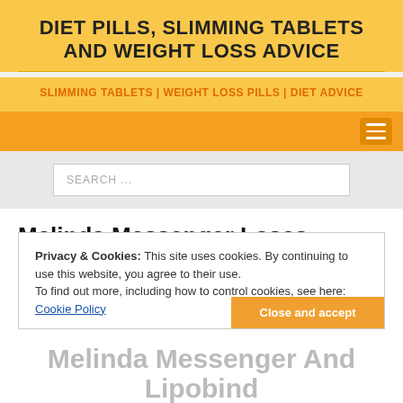DIET PILLS, SLIMMING TABLETS AND WEIGHT LOSS ADVICE
SLIMMING TABLETS | WEIGHT LOSS PILLS | DIET ADVICE
SEARCH ...
Melinda Messenger Loses Weight With Lipobind
Privacy & Cookies: This site uses cookies. By continuing to use this website, you agree to their use. To find out more, including how to control cookies, see here: Cookie Policy
Close and accept
Melinda Messenger And Lipobind